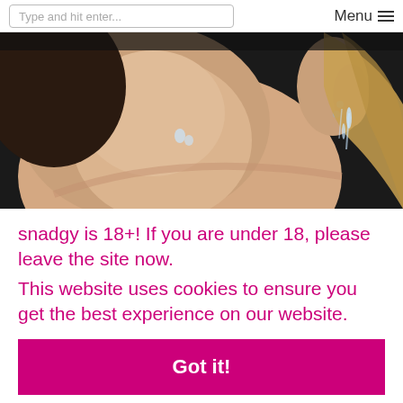Type and hit enter... Menu
[Figure (photo): Close-up photo of a person's neck and shoulder area, wet, with ear piercings visible and water droplets]
snadgy is 18+! If you are under 18, please leave the site now.
This website uses cookies to ensure you get the best experience on our website.
Got it!